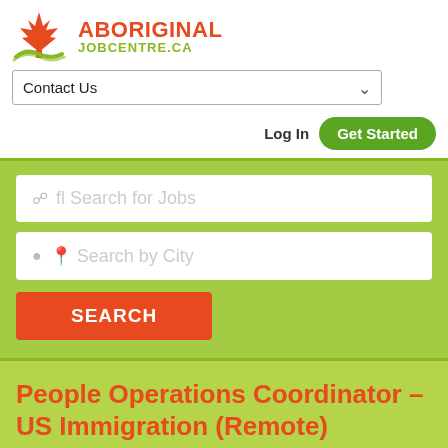[Figure (logo): Aboriginal JobCentre.ca logo with red maple leaf and green wave graphic]
[Figure (screenshot): Contact Us dropdown navigation selector]
Log In
Get Started
fl Search for Jobs
Search by City
SEARCH
People Operations Coordinator – US Immigration (Remote)
Quora